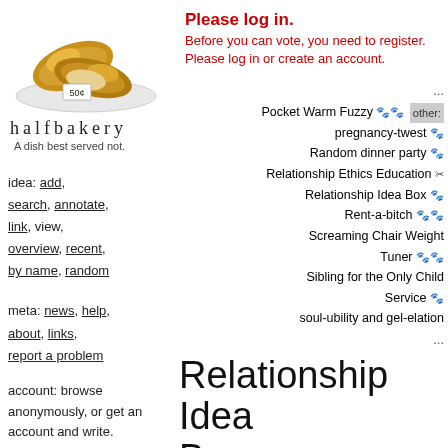[Figure (photo): Photo of two croissants on a white plate with a small price tag reading '50¢']
halfbakery
A dish best served not.
Please log in.
Before you can vote, you need to register. Please log in or create an account.
idea: add, search, annotate, link, view, overview, recent, by name, random
... Pocket Warm Fuzzy [icons] other: pregnancy-twest [icon] Random dinner party [icon] Relationship Ethics Education [icon] Relationship Idea Box [icon] Rent-a-bitch [icons] Screaming Chair Weight Tuner [icons] Sibling for the Only Child Service [icon] soul-ubility and gel-elation ...
meta: news, help, about, links, report a problem
Relationship Idea Box
account: browse anonymously, or get an account and write.